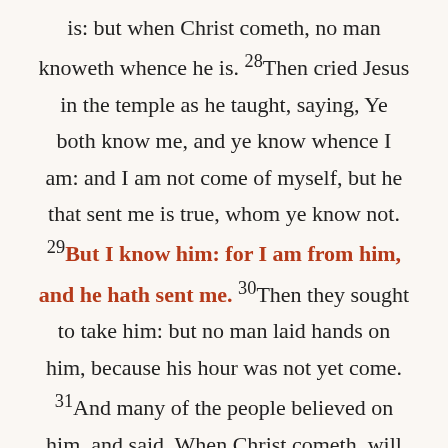is: but when Christ cometh, no man knoweth whence he is. 28Then cried Jesus in the temple as he taught, saying, Ye both know me, and ye know whence I am: and I am not come of myself, but he that sent me is true, whom ye know not. 29But I know him: for I am from him, and he hath sent me. 30Then they sought to take him: but no man laid hands on him, because his hour was not yet come. 31And many of the people believed on him, and said, When Christ cometh, will he do more miracles than these which this man hath